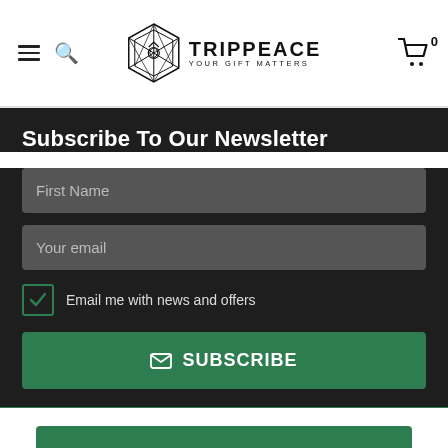TRIPPEACE YOUR GIFT MATTERS
Subscribe To Our Newsletter
First Name
Your email
Email me with news and offers
SUBSCRIBE
ADD TO CARD